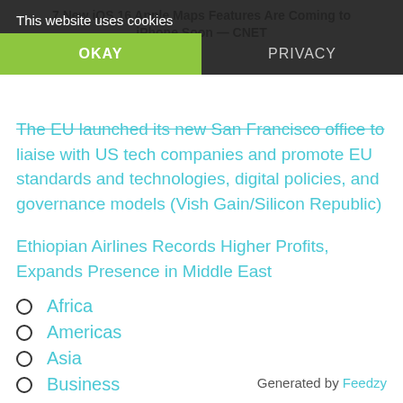7 New iOS 16 Apple Maps Features Are Coming to iPhone Soon — CNET
This website uses cookies
OKAY | PRIVACY
The EU launched its new San Francisco office to liaise with US tech companies and promote EU standards and technologies, digital policies, and governance models (Vish Gain/Silicon Republic)
Ethiopian Airlines Records Higher Profits, Expands Presence in Middle East
Africa
Americas
Asia
Business
Deals
Generated by Feedzy